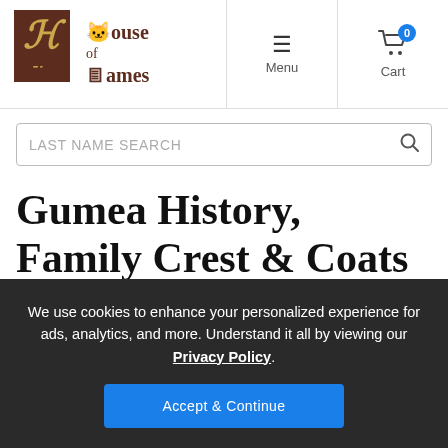House of Names — Menu | Cart (0)
LAST NAME SEARCH
Gumea History, Family Crest & Coats of Arms
We use cookies to enhance your personalized experience for ads, analytics, and more. Understand it all by viewing our Privacy Policy.
Accept & Continue